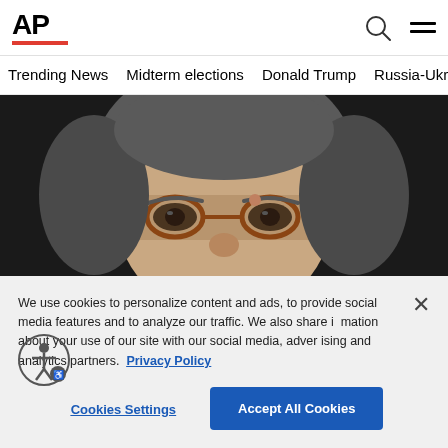AP
Trending News
Midterm elections
Donald Trump
Russia-Ukr
[Figure (photo): Close-up photo of a man with grey hair wearing glasses, photographed from below against a dark background.]
We use cookies to personalize content and ads, to provide social media features and to analyze our traffic. We also share information about your use of our site with our social media, advertising and analytics partners. Privacy Policy
Cookies Settings
Accept All Cookies